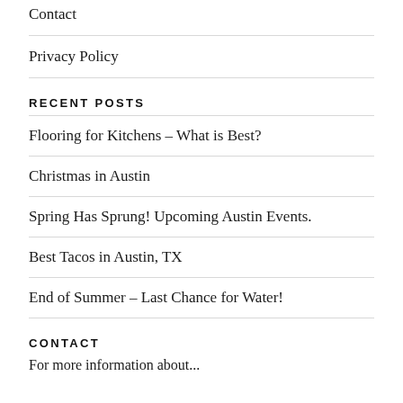Contact
Privacy Policy
RECENT POSTS
Flooring for Kitchens – What is Best?
Christmas in Austin
Spring Has Sprung! Upcoming Austin Events.
Best Tacos in Austin, TX
End of Summer – Last Chance for Water!
CONTACT
For more information about...